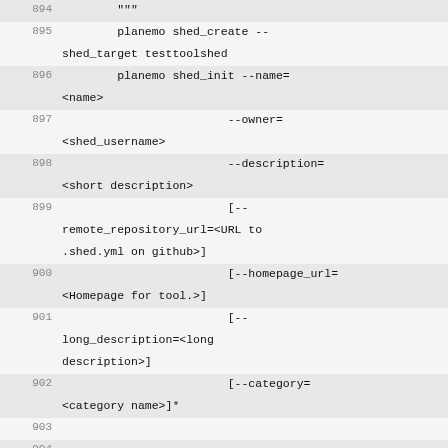Code listing lines 894-909: planemo shed_create, shed_init, shed_update, and related Python code
894: """
895:         planemo shed_create --shed_target testtoolshed
896:         planemo shed_init --name=<name>
897:                         --owner=<shed_username>
898:                         --description=<short description>
899:                         [--remote_repository_url=<URL to .shed.yml on github>]
900:                         [--homepage_url=<Homepage for tool.>]
901:                         [--long_description=<long description>]
902:                         [--category=<category name>]*
903:
904:
905:         planemo shed_update --check_diff --shed_target testtoolshed
906:         """
907:         if os.path.exists(self.tlog):
908:             tout = open(self.tlog, "a")
909:         else: